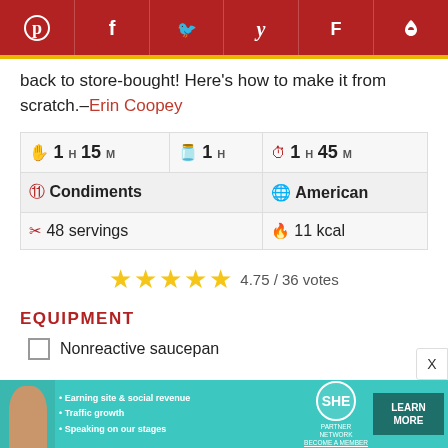Social sharing bar: Pinterest, Facebook, Twitter, Yummly, Flipboard, Save
back to store-bought! Here's how to make it from scratch.–Erin Coopey
| 1 H 15 M | 1 H | 1 H 45 M |
| Condiments | American |
| 48 servings | 11 kcal |
4.75 / 36 votes
EQUIPMENT
Nonreactive saucepan
[Figure (infographic): SHE Partner Network advertisement banner with woman silhouette, bullet points about earning site & social revenue, traffic growth, speaking on stages, SHE logo, and LEARN MORE button]